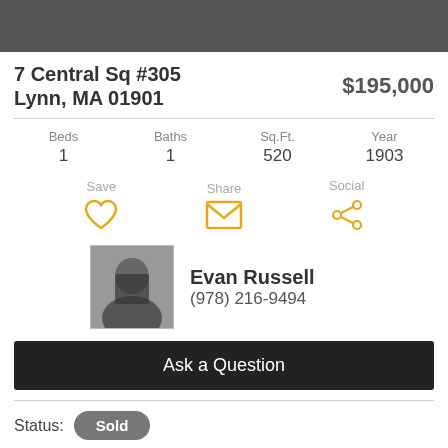7 Central Sq #305
Lynn, MA 01901
$195,000
| Beds | Baths | Sq.Ft. | Year |
| --- | --- | --- | --- |
| 1 | 1 | 520 | 1903 |
Save  Share  Social
[Figure (photo): Headshot photo of Evan Russell, a man in a black shirt]
Evan Russell
(978) 216-9494
Ask a Question
Status: Sold